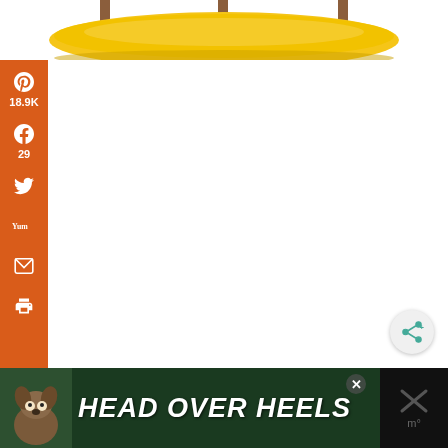[Figure (photo): Top portion of an image showing a yellow cushion/pillow on a wooden rack or stand, cropped at the top of the page]
[Figure (infographic): Orange social media sharing sidebar with Pinterest (18.9K), Facebook (29), Twitter, Yummly, Email, and Print buttons]
19.0K
SHARES
[Figure (screenshot): Circular share button with share icon (arrow with dots) on grey background, positioned bottom right of content area]
[Figure (photo): Advertisement banner with dark green background, showing a dog (boxer/pit bull breed) on the left, text reading HEAD OVER HEELS in large white italic letters, a close X button, and a dark icon area on the right]